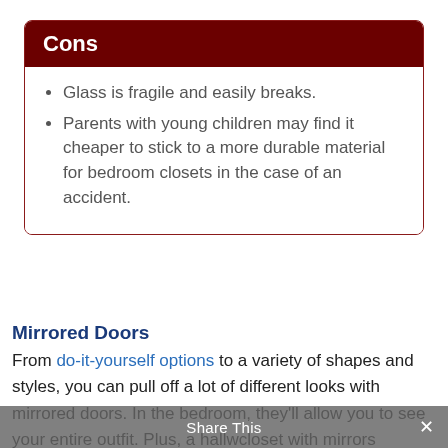Cons
Glass is fragile and easily breaks.
Parents with young children may find it cheaper to stick to a more durable material for bedroom closets in the case of an accident.
Mirrored Doors
From do-it-yourself options to a variety of shapes and styles, you can pull off a lot of different looks with mirrored doors. In the bedroom, they'll allow you to see your entire outfit. Plus, a hallw closet with mirrors
Share This ×